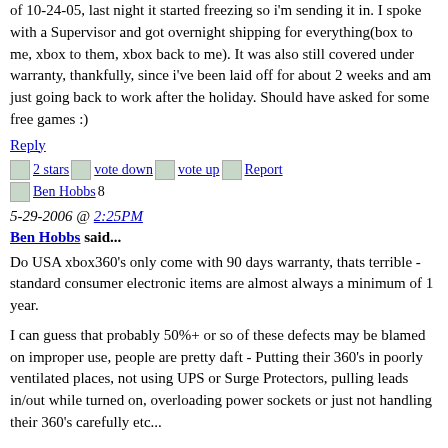of 10-24-05, last night it started freezing so i'm sending it in. I spoke with a Supervisor and got overnight shipping for everything(box to me, xbox to them, xbox back to me). It was also still covered under warranty, thankfully, since i've been laid off for about 2 weeks and am just going back to work after the holiday. Should have asked for some free games :)
Reply
2 stars vote down vote up Report
Ben Hobbs 8
5-29-2006 @ 2:25PM
Ben Hobbs said...
Do USA xbox360's only come with 90 days warranty, thats terrible - standard consumer electronic items are almost always a minimum of 1 year.
I can guess that probably 50%+ or so of these defects may be blamed on improper use, people are pretty daft - Putting their 360's in poorly ventilated places, not using UPS or Surge Protectors, pulling leads in/out while turned on, overloading power sockets or just not handling their 360's carefully etc...